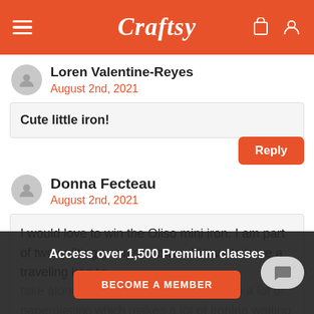Craftsy
Loren Valentine-Reyes
August 2nd, 2021
Cute little iron!
Reply
Donna Fecteau
August 2nd, 2021
I would love to win the Oliso mini iron. I am part of two quilting groups and would love to have a traveling iron to take along with me to those events. I do a lot of paperpieci... which makes a lot of ironing waiting to use the sew iron usually set up at th...
Access over 1,500 Premium classes
BECOME A MEMBER